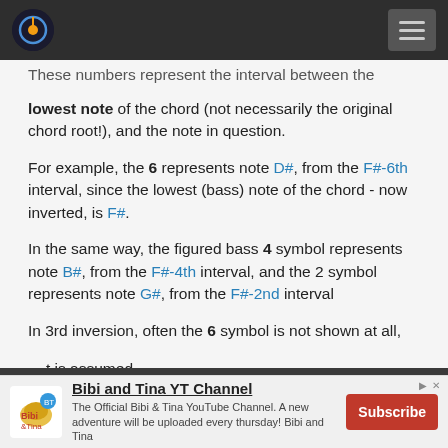[Navigation bar with music logo and hamburger menu]
These numbers represent the interval between the lowest note of the chord (not necessarily the original chord root!), and the note in question.
For example, the 6 represents note D#, from the F#-6th interval, since the lowest (bass) note of the chord - now inverted, is F#.
In the same way, the figured bass 4 symbol represents note B#, from the F#-4th interval, and the 2 symbol represents note G#, from the F#-2nd interval
In 3rd inversion, often the 6 symbol is not shown at all, it is assumed.
Bibi and Tina YT Channel
The Official Bibi & Tina YouTube Channel. A new adventure will be uploaded every thursday! Bibi and Tina